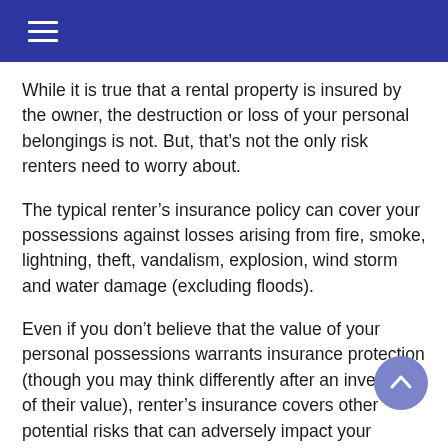While it is true that a rental property is insured by the owner, the destruction or loss of your personal belongings is not. But, that’s not the only risk renters need to worry about.
The typical renter’s insurance policy can cover your possessions against losses arising from fire, smoke, lightning, theft, vandalism, explosion, wind storm and water damage (excluding floods).
Even if you don’t believe that the value of your personal possessions warrants insurance protection (though you may think differently after an inventory of their value), renter’s insurance covers other potential risks that can adversely impact your finances.
Renter’s insurance is designed to cover damages and costs…